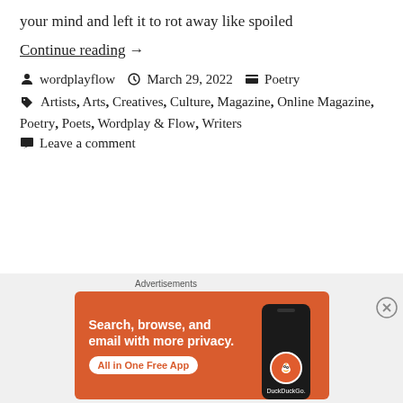your mind and left it to rot away like spoiled
Continue reading →
wordplayflow   March 29, 2022   Poetry
Artists, Arts, Creatives, Culture, Magazine, Online Magazine, Poetry, Poets, Wordplay & Flow, Writers
Leave a comment
[Figure (screenshot): DuckDuckGo advertisement banner: orange background with text 'Search, browse, and email with more privacy. All in One Free App' and DuckDuckGo logo with phone graphic]